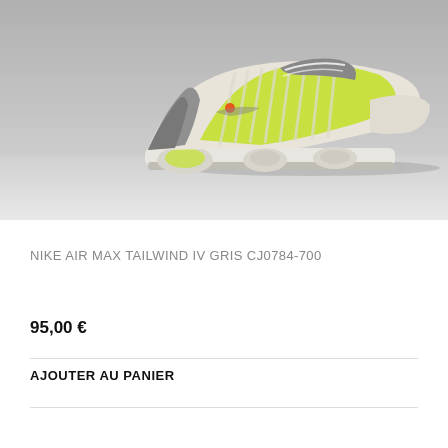[Figure (photo): Nike Air Max Tailwind IV sneaker in grey/neon green colorway, photographed on a grey background from the side. The shoe features neon yellow-green accents, ribbed upper, and visible Air Max cushioning pods in the sole.]
NIKE AIR MAX TAILWIND IV GRIS CJ0784-700
95,00 €
AJOUTER AU PANIER